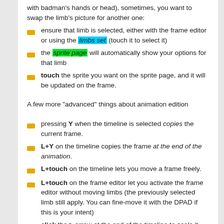with badman's hands or head), sometimes, you want to swap the limb's picture for another one:
ensure that limb is selected, either with the frame editor or using the limbs set (touch it to select it)
the sprite page will automatically show your options for that limb
touch the sprite you want on the sprite page, and it will be updated on the frame.
A few more "advanced" things about animation edition
pressing Y when the timeline is selected copies the current frame.
L+Y on the timeline copies the frame at the end of the animation.
L+touch on the timeline lets you move a frame freely.
L+touch on the frame editor let you activate the frame editor without moving limbs (the previously selected limb still apply. You can fine-move it with the DPAD if this is your intent)
click the > arrow at the end of the timeline to scale it and make room for twice as much frames. L+click it